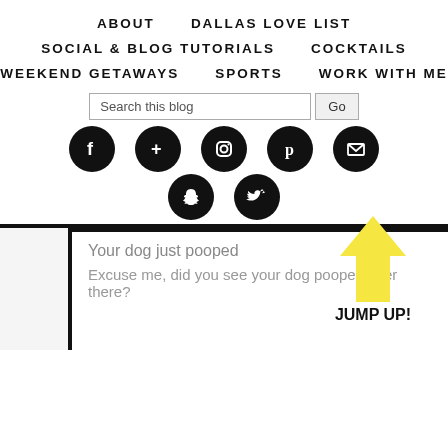ABOUT   DALLAS LOVE LIST
SOCIAL & BLOG TUTORIALS   COCKTAILS
WEEKEND GETAWAYS   SPORTS   WORK WITH ME
[Figure (screenshot): Search bar with placeholder 'Search this blog' and a 'Go' button]
[Figure (infographic): Row of 5 black circle social media icons: Facebook, Google+, Instagram, Pinterest, Email]
[Figure (infographic): Row of 2 black circle social media icons: Snapchat, Twitter]
Your dog just pooped
[Figure (illustration): Yellow upward-pointing arrow with JUMP UP! label]
Excuse me, did you see your dog pooped over there?